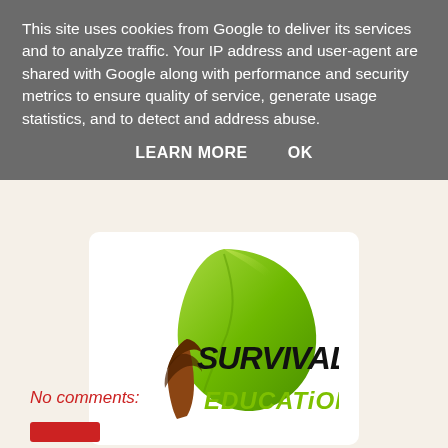This site uses cookies from Google to deliver its services and to analyze traffic. Your IP address and user-agent are shared with Google along with performance and security metrics to ensure quality of service, generate usage statistics, and to detect and address abuse.
LEARN MORE   OK
[Figure (logo): Survival Education logo with a green leaf and a paintbrush, text SURVIVAL in black bold italic font and EDUCATION in green stylized font below]
No comments: